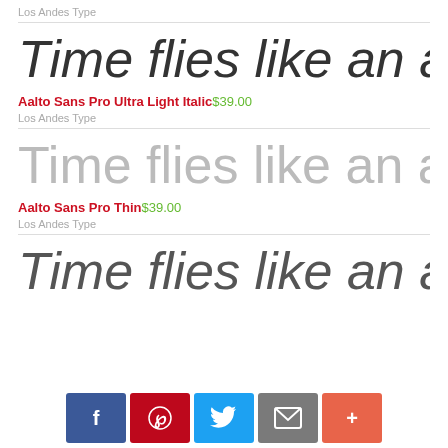Los Andes Type
Time flies like an arrow
Aalto Sans Pro Ultra Light Italic   $39.00
Los Andes Type
Time flies like an arrow
Aalto Sans Pro Thin   $39.00
Los Andes Type
Time flies like an arrow
[Figure (infographic): Social media sharing bar with Facebook, Pinterest, Twitter, email, and plus buttons]